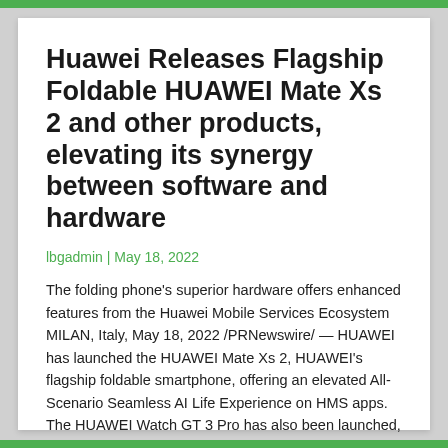Huawei Releases Flagship Foldable HUAWEI Mate Xs 2 and other products, elevating its synergy between software and hardware
lbgadmin | May 18, 2022
The folding phone's superior hardware offers enhanced features from the Huawei Mobile Services Ecosystem MILAN, Italy, May 18, 2022 /PRNewswire/ — HUAWEI has launched the HUAWEI Mate Xs 2, HUAWEI's flagship foldable smartphone, offering an elevated All-Scenario Seamless AI Life Experience on HMS apps. The HUAWEI Watch GT 3 Pro has also been launched, bridging [...]
Read More...